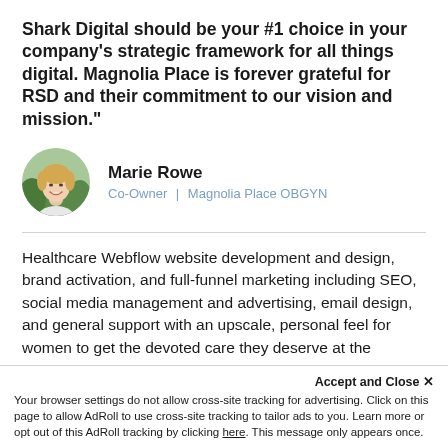Shark Digital should be your #1 choice in your company's strategic framework for all things digital. Magnolia Place is forever grateful for RSD and their commitment to our vision and mission."
[Figure (photo): Circular portrait photo of Marie Rowe, a woman with blonde hair smiling, shown from shoulders up against a green/outdoor background.]
Marie Rowe
Co-Owner | Magnolia Place OBGYN
Healthcare Webflow website development and design, brand activation, and full-funnel marketing including SEO, social media management and advertising, email design, and general support with an upscale, personal feel for women to get the devoted care they deserve at the OBGYN.
Accept and Close ✕
Your browser settings do not allow cross-site tracking for advertising. Click on this page to allow AdRoll to use cross-site tracking to tailor ads to you. Learn more or opt out of this AdRoll tracking by clicking here. This message only appears once.